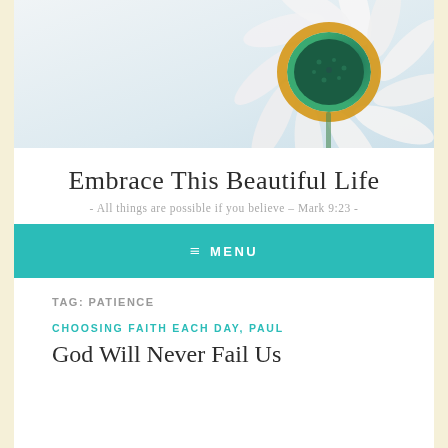[Figure (photo): Close-up photo of a white daisy flower with a yellow and green center, on a light background]
Embrace This Beautiful Life
- All things are possible if you believe – Mark 9:23 -
≡ MENU
TAG: PATIENCE
CHOOSING FAITH EACH DAY, PAUL
God Will Never Fail Us